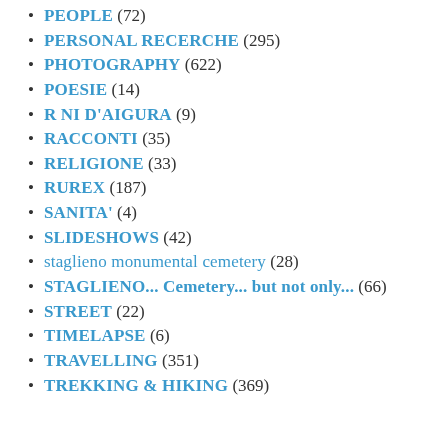PEOPLE (72)
PERSONAL RECERCHE (295)
PHOTOGRAPHY (622)
POESIE (14)
R NI D'AIGURA (9)
RACCONTI (35)
RELIGIONE (33)
RUREX (187)
SANITA' (4)
SLIDESHOWS (42)
staglieno monumental cemetery (28)
STAGLIENO... Cemetery... but not only... (66)
STREET (22)
TIMELAPSE (6)
TRAVELLING (351)
TREKKING & HIKING (369)